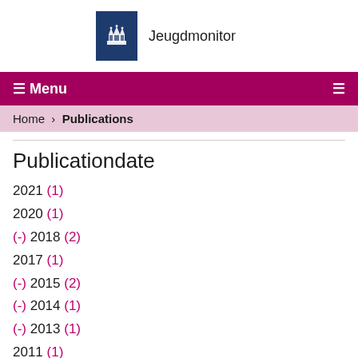[Figure (logo): Dutch government coat of arms logo with 'Jeugdmonitor' text]
☰ Menu
Home › Publications
Publicationdate
2021 (1)
2020 (1)
(-) 2018 (2)
2017 (1)
(-) 2015 (2)
(-) 2014 (1)
(-) 2013 (1)
2011 (1)